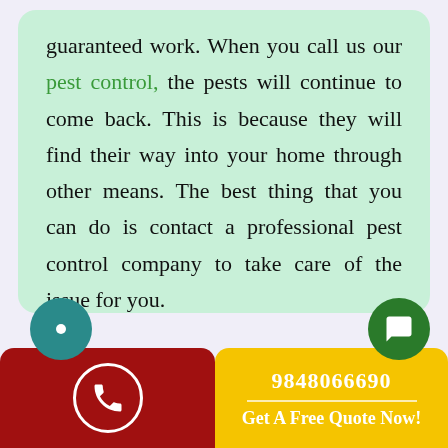guaranteed work. When you call us our pest control, the pests will continue to come back. This is because they will find their way into your home through other means. The best thing that you can do is contact a professional pest control company to take care of the issue for you.
9848066690 | Get A Free Quote Now!